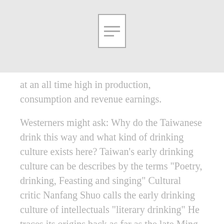[Figure (other): Blurred/faded background image with a document icon in the center]
at an all time high in production, consumption and revenue earnings.
Westerners might ask: Why do the Taiwanese drink this way and what kind of drinking culture exists here? Taiwan's early drinking culture can be describes by the terms "Poetry, drinking, Feasting and singing" Cultural critic Nanfang Shuo calls the early drinking culture of intellectuals "literary drinking" He traces its origins back as far as the late Ming dynasty and the brief rule of Taiwan by Zheng Chenggong, and notes that it grew in popularity through the Qing dynasty and into the early Japanese occupation era. Its form